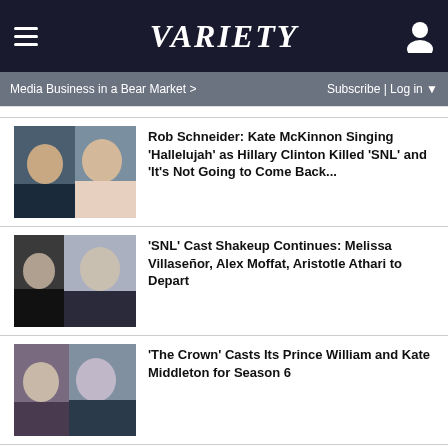VARIETY
Media Business in a Bear Market >
Subscribe | Log in ▼
Rob Schneider: Kate McKinnon Singing 'Hallelujah' as Hillary Clinton Killed 'SNL' and 'It's Not Going to Come Back...
'SNL' Cast Shakeup Continues: Melissa Villaseñor, Alex Moffat, Aristotle Athari to Depart
'The Crown' Casts Its Prince William and Kate Middleton for Season 6
Jane Fonda Diagnosed With Non-Hodgkin's Lymphoma, Begins Chemo: 'This Is a Treatable Cancer'